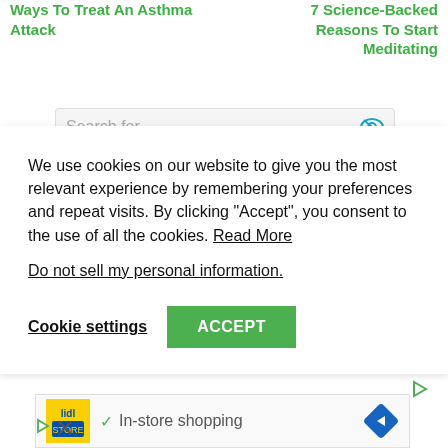Ways To Treat An Asthma Attack
7 Science-Backed Reasons To Start Meditating
Search for
We use cookies on our website to give you the most relevant experience by remembering your preferences and repeat visits. By clicking “Accept”, you consent to the use of all the cookies. Read More
Do not sell my personal information.
Cookie settings
ACCEPT
[Figure (screenshot): Advertisement banner with Lidl logo, checkmark, text 'In-store shopping', and a blue navigation arrow icon]